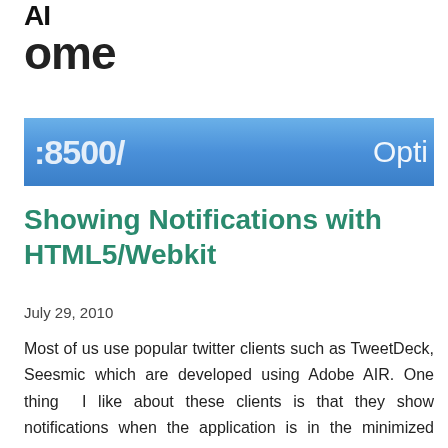AI
ome
[Figure (screenshot): A blue browser address bar showing ':8500/' on the left and 'Opti' (Options) partially visible on the right, on a blue gradient background.]
Showing Notifications with HTML5/Webkit
July 29, 2010
Most of us use popular twitter clients such as TweetDeck, Seesmic which are developed using Adobe AIR. One thing I like about these clients is that they show notifications when the application is in the minimized mode. Now wi…